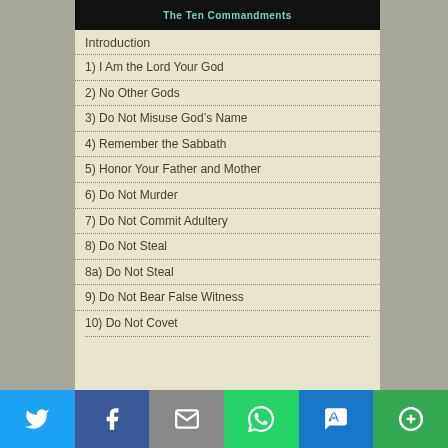The Ten Commandments
Introduction
1) I Am the Lord Your God
2) No Other Gods
3) Do Not Misuse God’s Name
4) Remember the Sabbath
5) Honor Your Father and Mother
6) Do Not Murder
7) Do Not Commit Adultery
8) Do Not Steal
8a) Do Not Steal
9) Do Not Bear False Witness
10) Do Not Covet